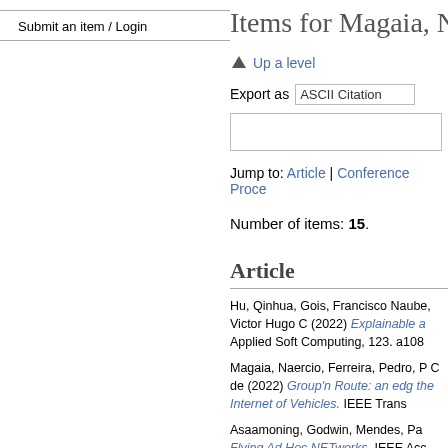Submit an item / Login
Items for Magaia, N
Up a level
Export as  ASCII Citation
Jump to: Article | Conference Proce
Number of items: 15.
Article
Hu, Qinhua, Gois, Francisco Naube, Victor Hugo C (2022) Explainable a Applied Soft Computing, 123. a108
Magaia, Naercio, Ferreira, Pedro, P C de (2022) Group'n Route: an edg the Internet of Vehicles. IEEE Trans
Asaamoning, Godwin, Mendes, Pa Flying Ad Hoc NETworks. IEEE Acc